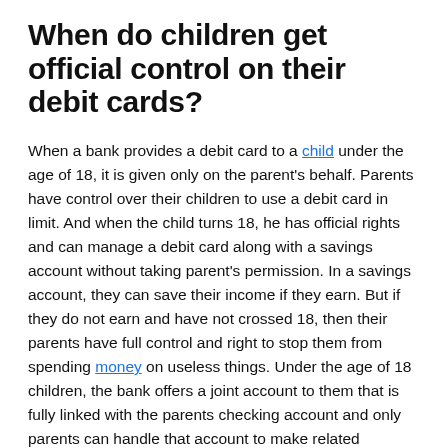When do children get official control on their debit cards?
When a bank provides a debit card to a child under the age of 18, it is given only on the parent's behalf. Parents have control over their children to use a debit card in limit. And when the child turns 18, he has official rights and can manage a debit card along with a savings account without taking parent's permission. In a savings account, they can save their income if they earn. But if they do not earn and have not crossed 18, then their parents have full control and right to stop them from spending money on useless things. Under the age of 18 children, the bank offers a joint account to them that is fully linked with the parents checking account and only parents can handle that account to make related decisions. Once children turn 18, they would be eligible to make a decision related to bank accounts and debit cards.
Can we get a card at the age of 16?